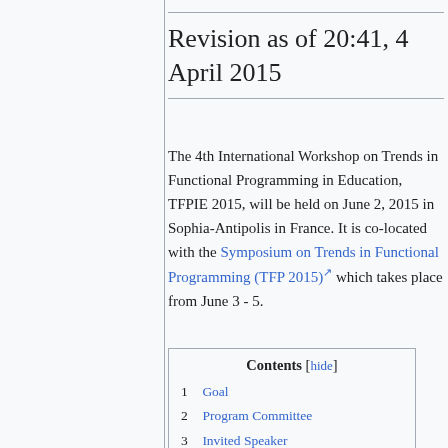Revision as of 20:41, 4 April 2015
The 4th International Workshop on Trends in Functional Programming in Education, TFPIE 2015, will be held on June 2, 2015 in Sophia-Antipolis in France. It is co-located with the Symposium on Trends in Functional Programming (TFP 2015) which takes place from June 3 - 5.
1  Goal
2  Program Committee
3  Invited Speaker
4  Submission Guidelines
5  Important Dates